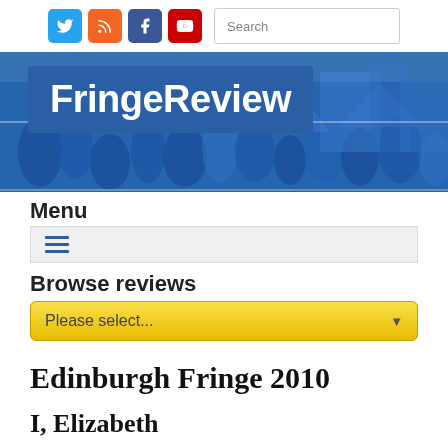[Figure (screenshot): Top bar with social media icons (Twitter, RSS, Facebook, YouTube) and a Search input box]
[Figure (screenshot): FringeReview website header banner with logo on blue background with crowd photo]
Menu
[Figure (screenshot): Hamburger menu toggle button (three horizontal blue lines) on light grey background]
Browse reviews
[Figure (screenshot): Yellow dropdown box with text 'Please select...' and a down arrow]
Edinburgh Fringe 2010
I, Elizabeth